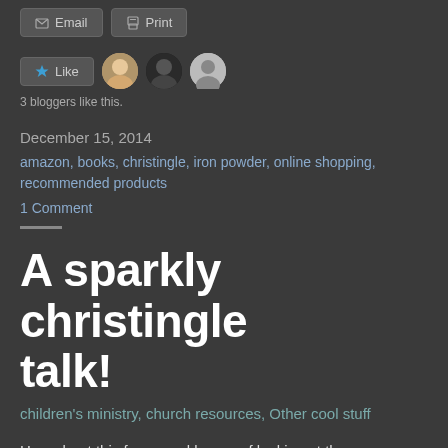[Figure (screenshot): Email and Print share buttons at top of page]
[Figure (screenshot): Like button with 3 blogger avatars]
3 bloggers like this.
December 15, 2014
amazon, books, christingle, iron powder, online shopping, recommended products
1 Comment
A sparkly christingle talk!
children's ministry, church resources, Other cool stuff
How about this for a sparkly way of looking at the